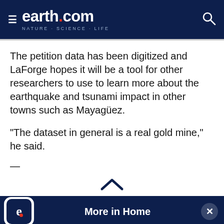earth.com NATURE · SCIENCE · LIFE
The petition data has been digitized and LaForge hopes it will be a tool for other researchers to use to learn more about the earthquake and tsunami impact in other towns such as Mayagüez.
“The dataset in general is a real gold mine,” he said.
—
[Figure (other): Scroll-up chevron arrow]
More in Home
Seaweed “superfood” could help ease global food crisis